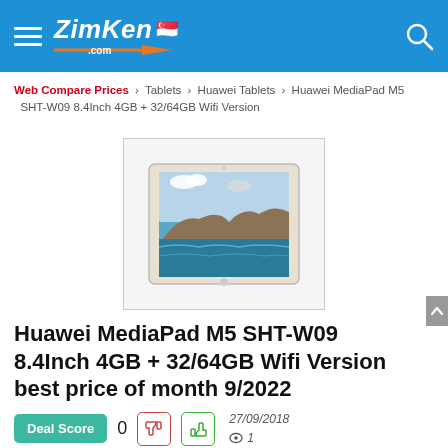ZimKen.com
Web Compare Prices > Tablets > Huawei Tablets > Huawei MediaPad M5 SHT-W09 8.4Inch 4GB + 32/64GB Wifi Version
[Figure (photo): Huawei MediaPad M5 tablet showing a coastal landscape screensaver, displayed at an angle on a white background]
Huawei MediaPad M5 SHT-W09 8.4Inch 4GB + 32/64GB Wifi Version best price of month 9/2022
Deal Score 0  27/09/2018  1 view